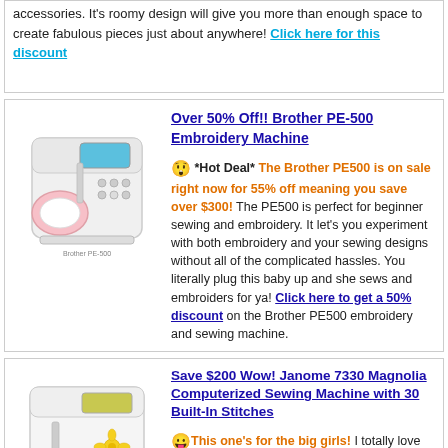accessories. It's roomy design will give you more than enough space to create fabulous pieces just about anywhere! Click here for this discount
Over 50% Off!! Brother PE-500 Embroidery Machine
[Figure (photo): Brother PE-500 embroidery machine, white with pink design on display]
*Hot Deal* The Brother PE500 is on sale right now for 55% off meaning you save over $300! The PE500 is perfect for beginner sewing and embroidery. It let's you experiment with both embroidery and your sewing designs without all of the complicated hassles. You literally plug this baby up and she sews and embroiders for ya! Click here to get a 50% discount on the Brother PE500 embroidery and sewing machine.
Save $200 Wow! Janome 7330 Magnolia Computerized Sewing Machine with 30 Built-In Stitches
[Figure (photo): Janome 7330 Magnolia computerized sewing machine, white with yellow flower design]
This one's for the big girls! I totally love this Janome 7330 Magnolia Computerized Sewing Machine with 30